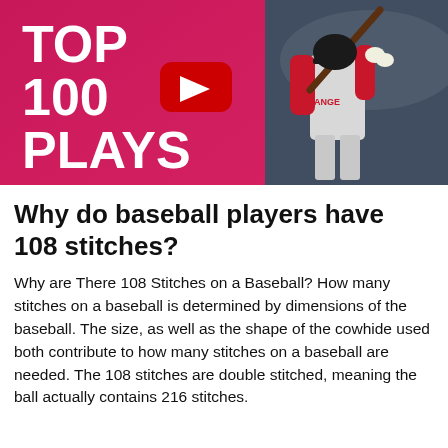[Figure (photo): YouTube thumbnail showing 'TOP 100 PLAYS' text on a pink/magenta background with a YouTube play button icon, and a baseball player in an Angels uniform swinging a bat on the right side.]
Why do baseball players have 108 stitches?
Why are There 108 Stitches on a Baseball? How many stitches on a baseball is determined by dimensions of the baseball. The size, as well as the shape of the cowhide used both contribute to how many stitches on a baseball are needed. The 108 stitches are double stitched, meaning the ball actually contains 216 stitches.